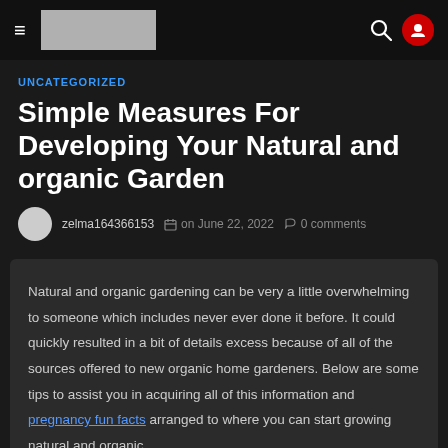≡  [logo]   🔍 👤
UNCATEGORIZED
Simple Measures For Developing Your Natural and organic Garden
zelma164366153   on June 22, 2022   0 comments
Natural and organic gardening can be very a little overwhelming to someone which includes never ever done it before. It could quickly resulted in a bit of details excess because of all of the sources offered to new organic home gardeners. Below are some tips to assist you in acquiring all of this information and pregnancy fun facts arranged to where you can start growing natural and organic